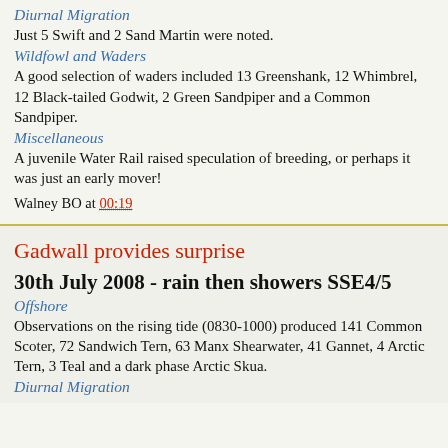Diurnal Migration
Just 5 Swift and 2 Sand Martin were noted.
Wildfowl and Waders
A good selection of waders included 13 Greenshank, 12 Whimbrel, 12 Black-tailed Godwit, 2 Green Sandpiper and a Common Sandpiper.
Miscellaneous
A juvenile Water Rail raised speculation of breeding, or perhaps it was just an early mover!
Walney BO at 00:19
Gadwall provides surprise
30th July 2008 - rain then showers SSE4/5
Offshore
Observations on the rising tide (0830-1000) produced 141 Common Scoter, 72 Sandwich Tern, 63 Manx Shearwater, 41 Gannet, 4 Arctic Tern, 3 Teal and a dark phase Arctic Skua.
Diurnal Migration